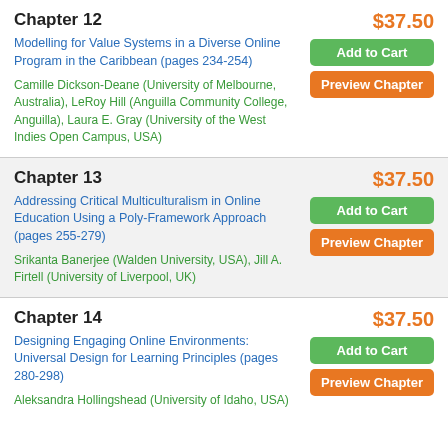Chapter 12
$37.50
Modelling for Value Systems in a Diverse Online Program in the Caribbean (pages 234-254)
Camille Dickson-Deane (University of Melbourne, Australia), LeRoy Hill (Anguilla Community College, Anguilla), Laura E. Gray (University of the West Indies Open Campus, USA)
Chapter 13
$37.50
Addressing Critical Multiculturalism in Online Education Using a Poly-Framework Approach (pages 255-279)
Srikanta Banerjee (Walden University, USA), Jill A. Firtell (University of Liverpool, UK)
Chapter 14
$37.50
Designing Engaging Online Environments: Universal Design for Learning Principles (pages 280-298)
Aleksandra Hollingshead (University of Idaho, USA)